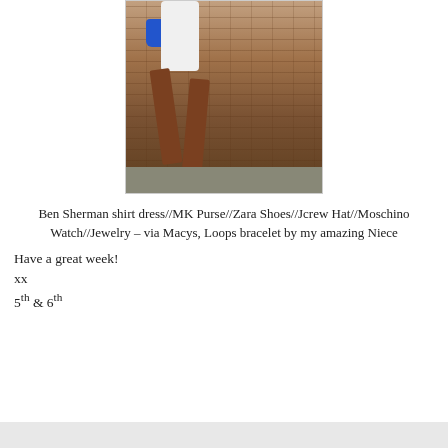[Figure (photo): A woman in a white shirt dress sitting on a brick wall ledge, wearing heeled sandals. A blue purse hangs to her left. The background is a brick wall.]
Ben Sherman shirt dress//MK Purse//Zara Shoes//Jcrew Hat//Moschino Watch//Jewelry – via Macys, Loops bracelet by my amazing Niece
Have a great week!
xx
5th & 6th